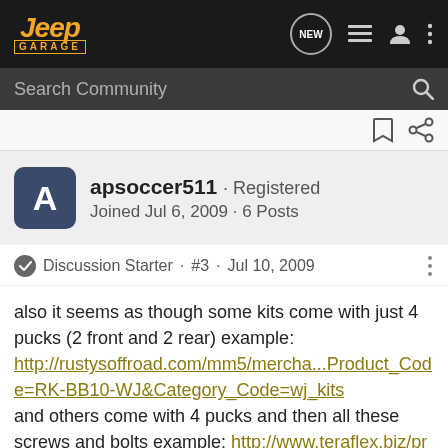Jeep Garage — navigation bar with logo, NEW chat icon, list icon, user icon, more icon
Search Community
apsoccer511 · Registered
Joined Jul 6, 2009 · 6 Posts
Discussion Starter · #3 · Jul 10, 2009
also it seems as though some kits come with just 4 pucks (2 front and 2 rear) example:
http://rustysoffroad.com/mm5/mercha...Product_Code=RK-BB10-WJ&Category_Code=wj_kits
and others come with 4 pucks and then all these screws and bolts example: http://www.teraflex.biz/products/wj-grand-cherokee-2-inch-budget-boost.html